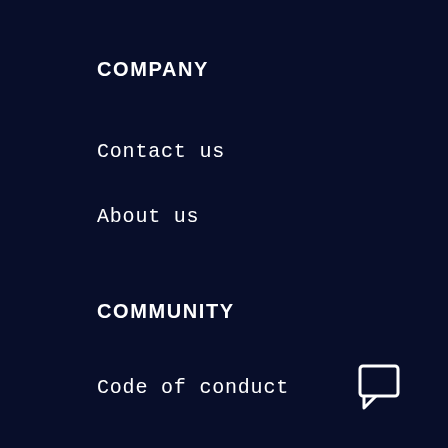COMPANY
Contact us
About us
COMMUNITY
Code of conduct
Rally Point
Forums
Resource Map
[Figure (illustration): Decorative topographic map lines in top-right corner; chat/message icon in bottom-right corner]